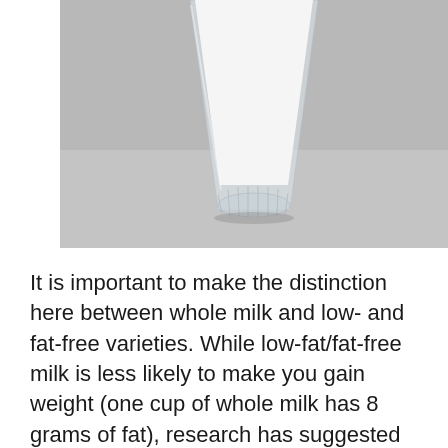[Figure (photo): A glass of white milk viewed from above against a gray background, showing the top portion of a clear glass filled with milk.]
It is important to make the distinction here between whole milk and low- and fat-free varieties. While low-fat/fat-free milk is less likely to make you gain weight (one cup of whole milk has 8 grams of fat), research has suggested